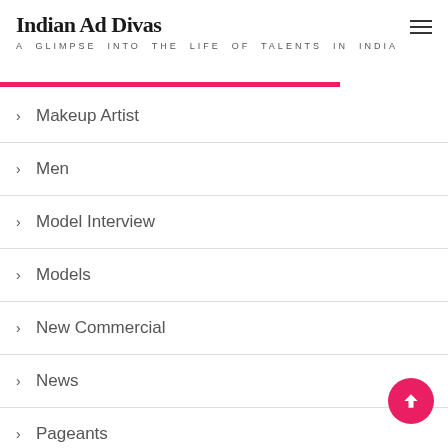Indian Ad Divas — A GLIMPSE INTO THE LIFE OF TALENTS IN INDIA
Makeup Artist
Men
Model Interview
Models
New Commercial
News
Pageants
Poll